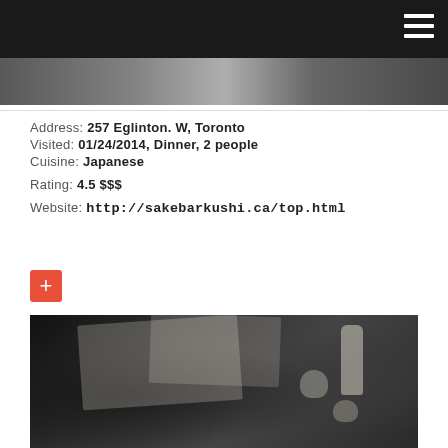Navigation bar with hamburger menu
[Figure (photo): Banner strip photo of restaurant interior, appears to be Sake Bar Kushi, dimly lit with text overlay]
Address: 257 Eglinton. W, Toronto
Visited: 01/24/2014, Dinner, 2 people
Cuisine: Japanese
Rating: 4.5 $$$
Website: http://sakebarkushi.ca/top.html
[Figure (other): Red plus/add button (square red button with white + symbol)]
[Figure (photo): Dark atmospheric photo of Sake Bar Kushi restaurant table with Japanese menus, sake bottle and cups on a black grid placemat]